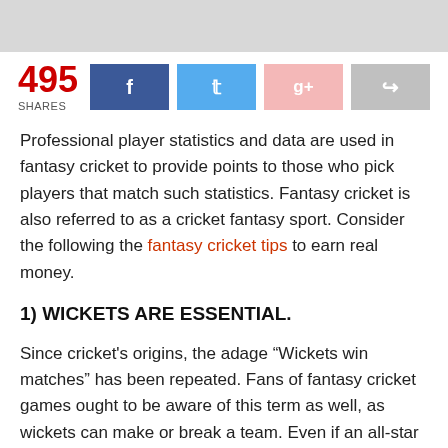[Figure (photo): Banner image at top of article page, light gray placeholder]
495 SHARES — social share buttons: Facebook, Twitter, Google+, Share
Professional player statistics and data are used in fantasy cricket to provide points to those who pick players that match such statistics. Fantasy cricket is also referred to as a cricket fantasy sport. Consider the following the fantasy cricket tips to earn real money.
1) WICKETS ARE ESSENTIAL.
Since cricket's origins, the adage “Wickets win matches” has been repeated. Fans of fantasy cricket games ought to be aware of this term as well, as wickets can make or break a team. Even if an all-star squad is put together without considering their wicket count, there is little purpose in putting one together in the first place if they